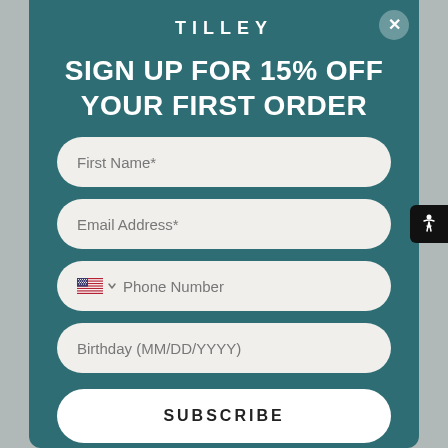TILLEY
SIGN UP FOR 15% OFF YOUR FIRST ORDER
First Name*
Email Address*
Phone Number
Birthday (MM/DD/YYYY)
SUBSCRIBE